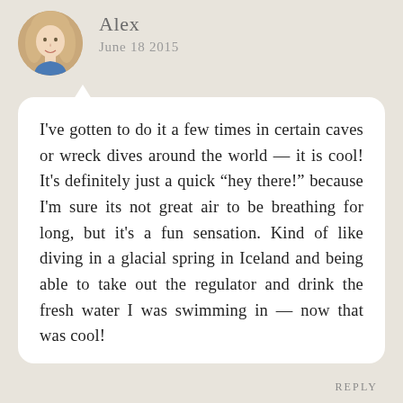[Figure (photo): Circular avatar photo of a blonde woman named Alex]
Alex
June 18 2015
I've gotten to do it a few times in certain caves or wreck dives around the world — it is cool! It's definitely just a quick “hey there!” because I'm sure its not great air to be breathing for long, but it's a fun sensation. Kind of like diving in a glacial spring in Iceland and being able to take out the regulator and drink the fresh water I was swimming in — now that was cool!
REPLY